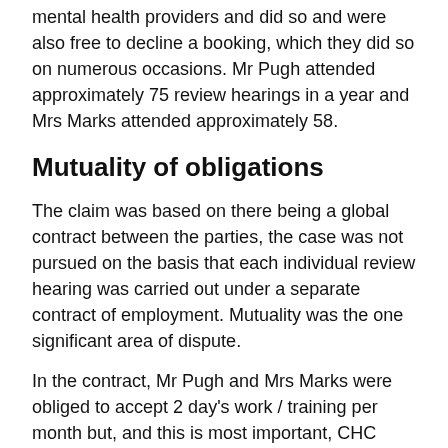Mr Pugh and Mrs Marks were free to work for other mental health providers and did so and were also free to decline a booking, which they did so on numerous occasions. Mr Pugh attended approximately 75 review hearings in a year and Mrs Marks attended approximately 58.
Mutuality of obligations
The claim was based on there being a global contract between the parties, the case was not pursued on the basis that each individual review hearing was carried out under a separate contract of employment. Mutuality was the one significant area of dispute.
In the contract, Mr Pugh and Mrs Marks were obliged to accept 2 day's work / training per month but, and this is most important, CHC were not obliged to offer it. In addition, once the claimants had accepted a 'booking' they retained the right to cancel it without seeking